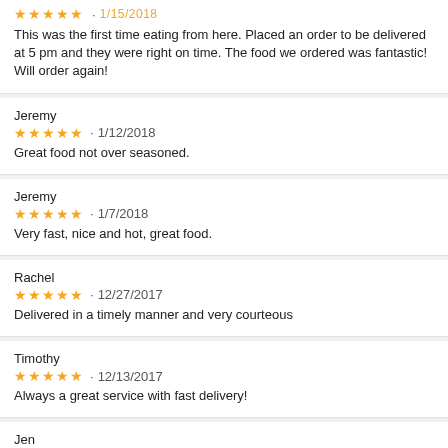This was the first time eating from here. Placed an order to be delivered at 5 pm and they were right on time. The food we ordered was fantastic! Will order again!
Jeremy
★★★★★ • 1/12/2018
Great food not over seasoned.
Jeremy
★★★★★ • 1/7/2018
Very fast, nice and hot, great food.
Rachel
★★★★★ • 12/27/2017
Delivered in a timely manner and very courteous
Timothy
★★★★★ • 12/13/2017
Always a great service with fast delivery!
Jen
★★★★☆ • 12/13/2017
Perfectly done and super fast. Yum yum